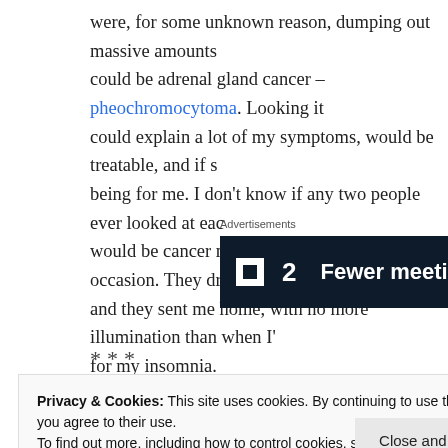were, for some unknown reason, dumping out massive amounts could be adrenal gland cancer – pheochromocytoma. Looking it could explain a lot of my symptoms, would be treatable, and if s being for me. I don't know if any two people ever looked at eac would be cancer more than we did on that occasion. They drew and they sent me home, with no more illumination than when I' for my insomnia.
[Figure (other): Advertisement banner for a product with logo showing a square icon and number 2, with text 'Fewer meetings, more']
***
Privacy & Cookies: This site uses cookies. By continuing to use this website, you agree to their use. To find out more, including how to control cookies, see here: Cookie Policy